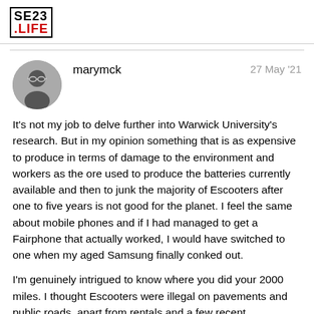SE23 .LIFE
marymck   27 May '21

It's not my job to delve further into Warwick University's research. But in my opinion something that is as expensive to produce in terms of damage to the environment and workers as the ore used to produce the batteries currently available and then to junk the majority of Escooters after one to five years is not good for the planet. I feel the same about mobile phones and if I had managed to get a Fairphone that actually worked, I would have switched to one when my aged Samsung finally conked out.

I'm genuinely intrigued to know where you did your 2000 miles. I thought Escooters were illegal on pavements and public roads, apart from rentals and a few recent